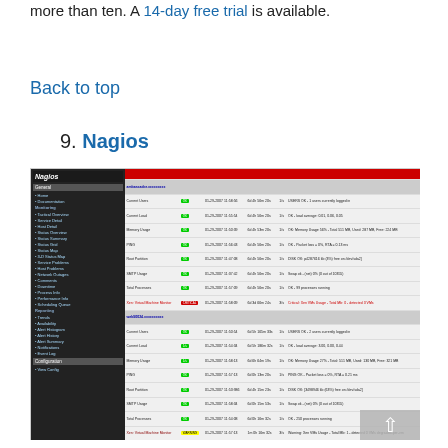more than ten. A 14-day free trial is available.
Back to top
9. Nagios
[Figure (screenshot): Screenshot of the Nagios monitoring interface showing a nav panel on the left with sections for Monitoring, Reporting, and Configuration, and a main panel on the right displaying host and service status table with OK, WARNING, and CRITICAL badges and status details.]